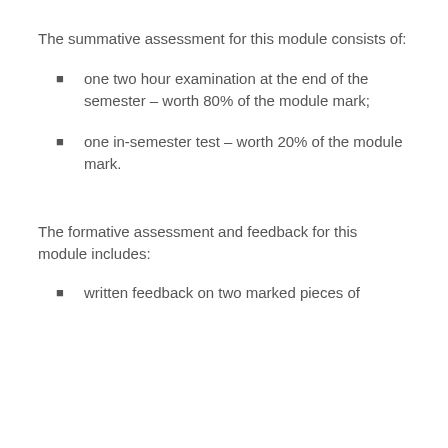The summative assessment for this module consists of:
one two hour examination at the end of the semester – worth 80% of the module mark;
one in-semester test – worth 20% of the module mark.
The formative assessment and feedback for this module includes:
written feedback on two marked pieces of